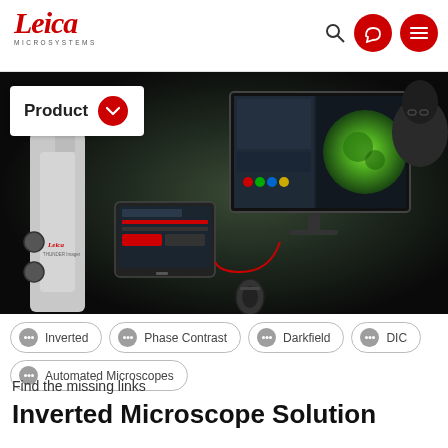[Figure (logo): Leica Microsystems logo in red italic script with 'MICROSYSTEMS' text below]
[Figure (photo): Dark laboratory scene showing a Leica inverted microscope, a tablet control interface, and a large monitor displaying microscopy software with green fluorescent specimen image. A researcher is visible in the background.]
Product
Inverted
Phase Contrast
Darkfield
DIC
Automated Microscopes
Find the missing links
Inverted Microscope Solution